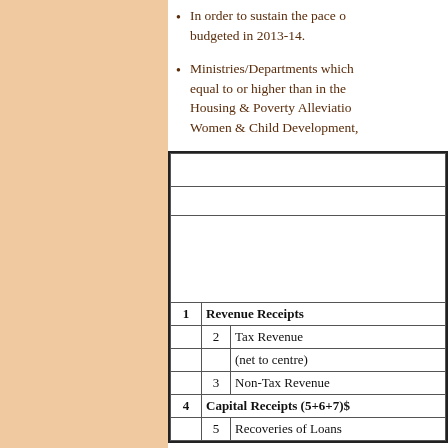In order to sustain the pace o... budgeted in 2013-14.
Ministries/Departments which... equal to or higher than in the... Housing & Poverty Alleviatio... Women & Child Development,...
|  |  |  |
| --- | --- | --- |
| 1 | Revenue Receipts |  |
|  | 2 | Tax Revenue |
|  |  | (net to centre) |
|  | 3 | Non-Tax Revenue |
| 4 | Capital Receipts (5+6+7)$ |  |
|  | 5 | Recoveries of Loans |